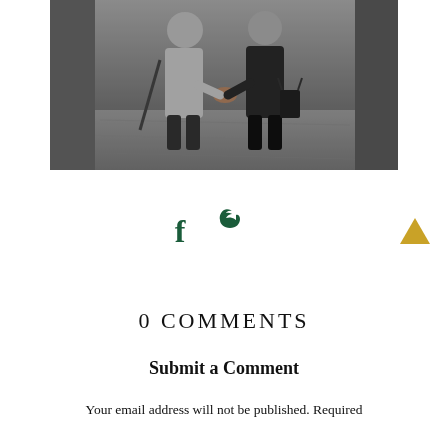[Figure (photo): Black and white photo of a couple holding hands while walking on a city street, viewed from behind. One person wears a light blazer, the other a dark coat.]
[Figure (infographic): Social media icons: Facebook (f) and Twitter (bird) in dark green, and a gold/yellow upward-pointing triangle on the right.]
0 COMMENTS
Submit a Comment
Your email address will not be published. Required